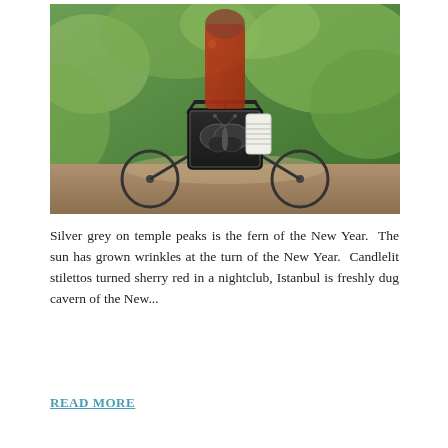[Figure (photo): A person in a red floral dress riding a bicycle. The front basket of the bicycle features a decorative black metal butterfly design. Lush green foliage is visible in the background. The scene is outdoors on a dirt path.]
Silver grey on temple peaks is the fern of the New Year. The sun has grown wrinkles at the turn of the New Year. Candlelit stilettos turned sherry red in a nightclub, Istanbul is freshly dug cavern of the New...
READ MORE